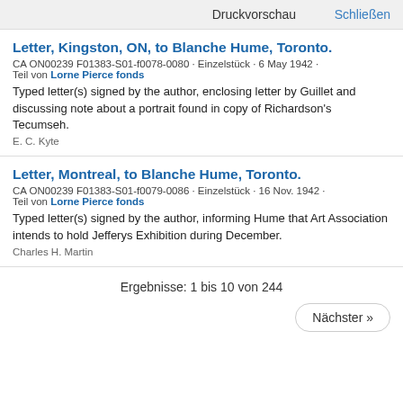Druckvorschau   Schließen
Letter, Kingston, ON, to Blanche Hume, Toronto.
CA ON00239 F01383-S01-f0078-0080 · Einzelstück · 6 May 1942 · Teil von Lorne Pierce fonds
Typed letter(s) signed by the author, enclosing letter by Guillet and discussing note about a portrait found in copy of Richardson's Tecumseh.
E. C. Kyte
Letter, Montreal, to Blanche Hume, Toronto.
CA ON00239 F01383-S01-f0079-0086 · Einzelstück · 16 Nov. 1942 · Teil von Lorne Pierce fonds
Typed letter(s) signed by the author, informing Hume that Art Association intends to hold Jefferys Exhibition during December.
Charles H. Martin
Ergebnisse: 1 bis 10 von 244
Nächster »